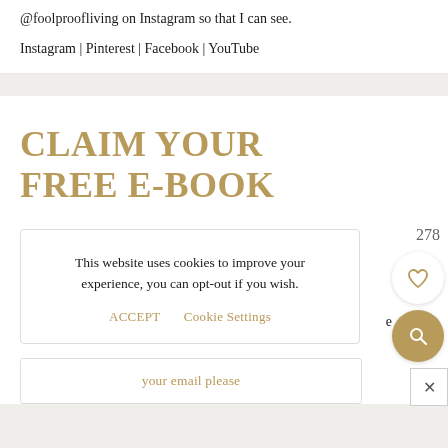@foolproofliving on Instagram so that I can see.
Instagram | Pinterest | Facebook | YouTube
CLAIM YOUR FREE E-BOOK
This website uses cookies to improve your experience, you can opt-out if you wish.
ACCEPT   Cookie Settings
your email please